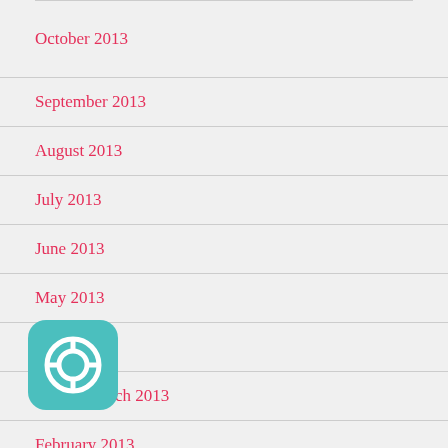October 2013
September 2013
August 2013
July 2013
June 2013
May 2013
April 2013
March 2013
February 2013
[Figure (logo): Teal rounded square icon with a lifebuoy/help symbol]